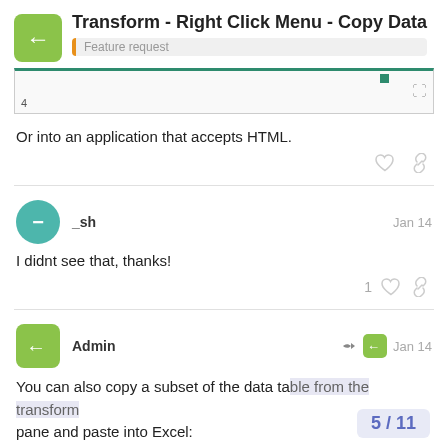Transform - Right Click Menu - Copy Data
Feature request
[Figure (screenshot): Partial screenshot of a spreadsheet/table with a green top border and a green cell indicator, with an expand icon in the top right.]
Or into an application that accepts HTML.
_sh  Jan 14
I didnt see that, thanks!
Admin  Jan 14
You can also copy a subset of the data ta... pane and paste into Excel:
5 / 11